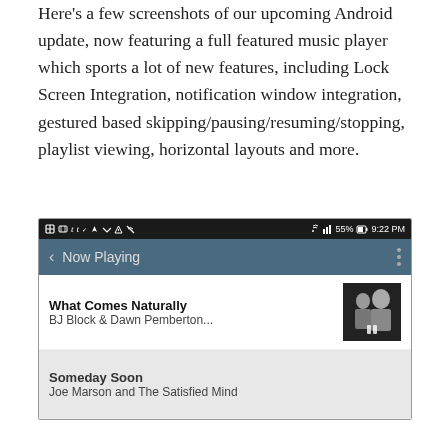Here's a few screenshots of our upcoming Android update, now featuring a full featured music player which sports a lot of new features, including Lock Screen Integration, notification window integration, gestured based skipping/pausing/resuming/stopping, playlist viewing, horizontal layouts and more.
[Figure (screenshot): Android smartphone screenshot showing a music player app with a dark status bar showing time 9:22 PM and 55% battery, a 'Now Playing' header bar in dark teal/blue, and a song list showing 'What Comes Naturally' by 'BJ Block & Dawn Pemberton...' with album art (two people in black and white photo), and below it 'Someday Soon' by 'Joe Marson and The Satisfied Mind' in a gray highlighted row.]